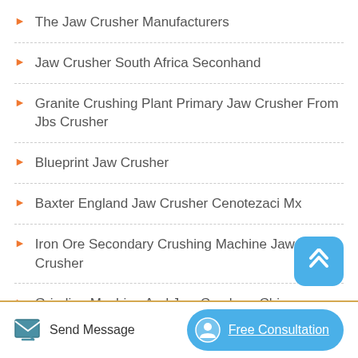The Jaw Crusher Manufacturers
Jaw Crusher South Africa Seconhand
Granite Crushing Plant Primary Jaw Crusher From Jbs Crusher
Blueprint Jaw Crusher
Baxter England Jaw Crusher Cenotezaci Mx
Iron Ore Secondary Crushing Machine Jaw Crusher
Grinding Machine And Jaw Crushers China
Send Message | Free Consultation